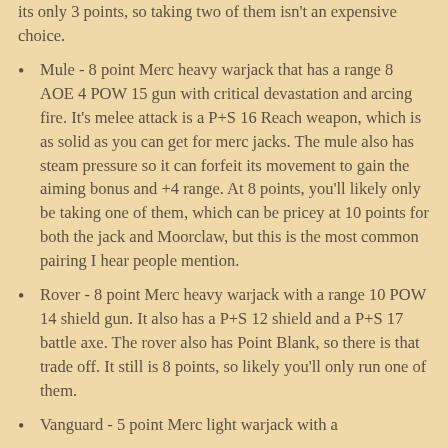its only 3 points, so taking two of them isn't an expensive choice.
Mule - 8 point Merc heavy warjack that has a range 8 AOE 4 POW 15 gun with critical devastation and arcing fire. It's melee attack is a P+S 16 Reach weapon, which is as solid as you can get for merc jacks. The mule also has steam pressure so it can forfeit its movement to gain the aiming bonus and +4 range. At 8 points, you'll likely only be taking one of them, which can be pricey at 10 points for both the jack and Moorclaw, but this is the most common pairing I hear people mention.
Rover - 8 point Merc heavy warjack with a range 10 POW 14 shield gun. It also has a P+S 12 shield and a P+S 17 battle axe. The rover also has Point Blank, so there is that trade off. It still is 8 points, so likely you'll only run one of them.
Vanguard - 5 point Merc light warjack with a